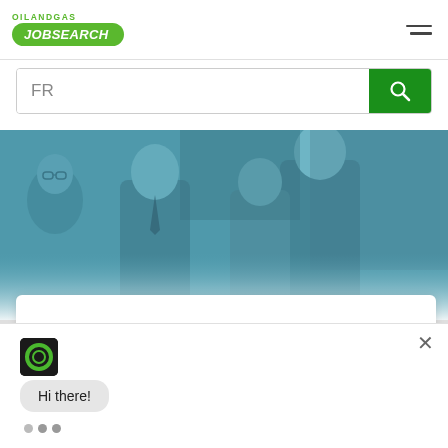OilandGas JobSearch logo and navigation
[Figure (logo): OilandGas JobSearch logo with green oval containing JOBSEARCH text]
FR
[Figure (photo): Hero banner image with teal/blue tint showing group of business professionals smiling and talking]
[Figure (screenshot): Chat widget showing Hi there! message with typing indicator dots and close button]